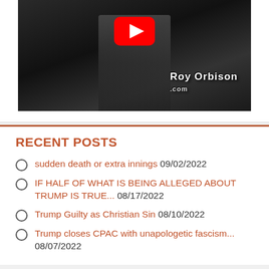[Figure (screenshot): YouTube video thumbnail showing a dark/grayscale video still with a man in a striped shirt, a YouTube play button overlay at top center, and a 'Roy Orbison .com' watermark in the lower right.]
RECENT POSTS
sudden death or extra innings 09/02/2022
IF HALF OF WHAT IS BEING ALLEGED ABOUT TRUMP IS TRUE... 08/17/2022
Trump Guilty as Christian Sin 08/10/2022
Trump closes CPAC with unapologetic fascism... 08/07/2022